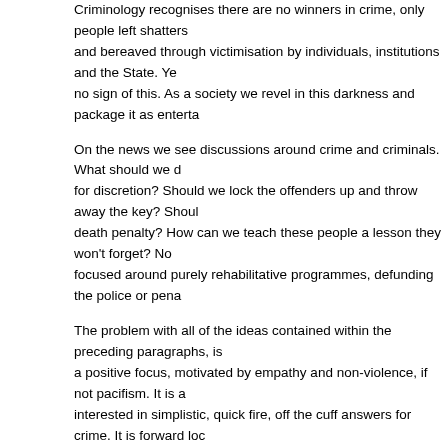Criminology recognises there are no winners in crime, only people left shattered and bereaved through victimisation by individuals, institutions and the State. Ye... no sign of this. As a society we revel in this darkness and package it as enterta...
On the news we see discussions around crime and criminals. What should we d... for discretion? Should we lock the offenders up and throw away the key? Shou... death penalty? How can we teach these people a lesson they won't forget? No... focused around purely rehabilitative programmes, defunding the police or pena...
The problem with all of the ideas contained within the preceding paragraphs, is... a positive focus, motivated by empathy and non-violence, if not pacifism. It is a... interested in simplistic, quick fire, off the cuff answers for crime. It is forward lo... has social justice at its heart, an overwhelming desire for fairness for everyone.
This month is Gypsy, Romany, Traveller History Month, this week is also Refu... individuals, institutions and the State. Their narratives have profound importanc... might have been. This is criminology.
Also the beginning of this week marked the fourth anniversary of the disaster a... feelings of many when we consider this horrific tragedy. I taught for the first tim... around whether it was appropriate (many of our students are intimately connec... counter to this was a strong belief that criminology had a duty to acknowledge t... poetry, music, graffiti and testimony in sessions to give us all space to consider... bereaved, the survivors, friends, families and neighbours, the first responders?... those involved, what kind of advocacy can we engage with and how we can al...